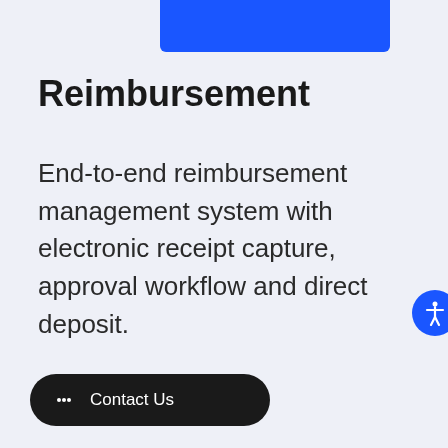[Figure (other): Blue rounded rectangle banner/button at top center]
Reimbursement
End-to-end reimbursement management system with electronic receipt capture, approval workflow and direct deposit.
[Figure (other): Blue circular accessibility icon button on right side]
[Figure (other): Black rounded pill Contact Us button with chat icon at bottom left]